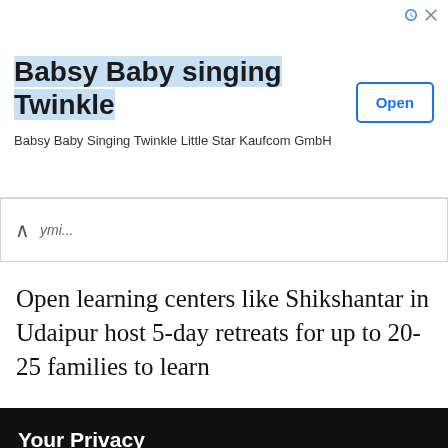[Figure (screenshot): Advertisement banner for 'Babsy Baby singing Twinkle' app with an Open button and close/info icons]
ymi...
Open learning centers like Shikshantar in Udaipur host 5-day retreats for up to 20-25 families to learn
Your Privacy
Welcome to Karnataka.com! We're glad you're here and want you to know that we respect your privacy and your right to control how we collect, use, and share your personal data. Please read our Privacy Policy to learn about our privacy practices.
I UNDERSTAND